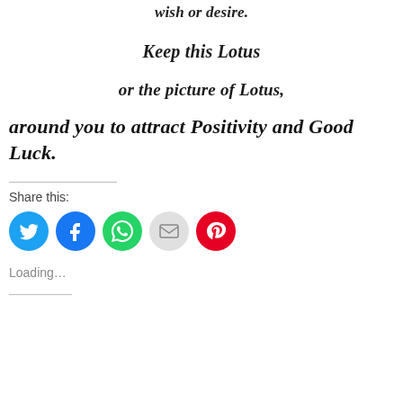wish or desire.
Keep this Lotus
or the picture of Lotus,
around you to attract Positivity and Good Luck.
Share this:
[Figure (infographic): Row of five social media share buttons: Twitter (blue bird), Facebook (blue), WhatsApp (green), Email (grey), Pinterest (red)]
Loading...